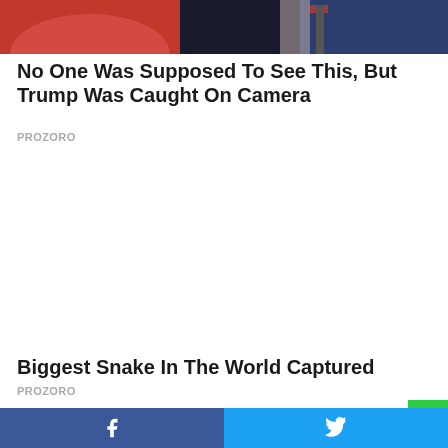[Figure (photo): Partial photo showing two people, one in red and one in a suit with tie, cropped at top]
No One Was Supposed To See This, But Trump Was Caught On Camera
PROZORO
[Figure (other): Advertisement space (blank white area)]
Biggest Snake In The World Captured
PROZORO
[Figure (photo): Partial photo showing red background with 'HODA' text visible]
Facebook share button · Twitter share button